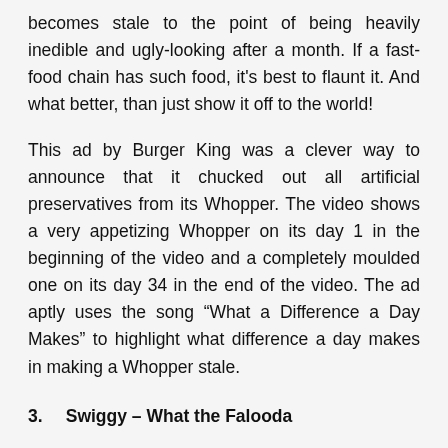becomes stale to the point of being heavily inedible and ugly-looking after a month. If a fast-food chain has such food, it's best to flaunt it. And what better, than just show it off to the world!
This ad by Burger King was a clever way to announce that it chucked out all artificial preservatives from its Whopper. The video shows a very appetizing Whopper on its day 1 in the beginning of the video and a completely moulded one on its day 34 in the end of the video. The ad aptly uses the song “What a Difference a Day Makes” to highlight what difference a day makes in making a Whopper stale.
3.  Swiggy – What the Falooda